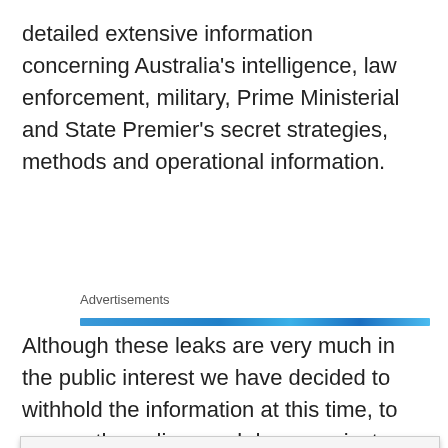detailed extensive information concerning Australia's intelligence, law enforcement, military, Prime Ministerial and State Premier's secret strategies, methods and operational information.
Advertisements
[Figure (other): Blue advertisement banner bar]
Although these leaks are very much in the public interest we have decided to withhold the information at this time, to ensure the police crackdown against bikies is effectively
Privacy & Cookies: This site uses cookies. By continuing to use this website, you agree to their use.
To find out more, including how to control cookies, see here: Cookie Policy
Close and accept